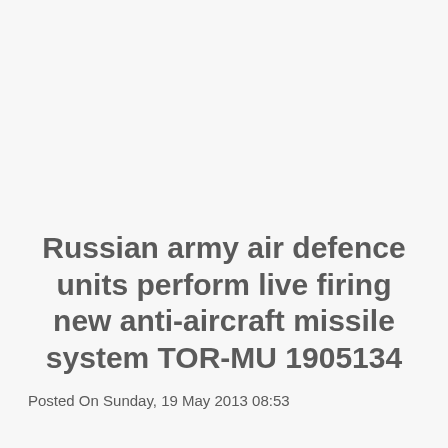Russian army air defence units perform live firing new anti-aircraft missile system TOR-MU 1905134
Posted On Sunday, 19 May 2013 08:53